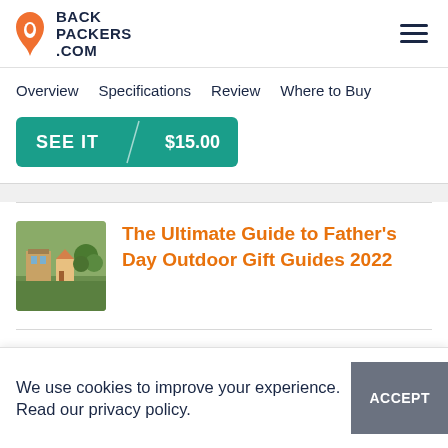BACKPACKERS.COM
Overview  Specifications  Review  Where to Buy
SEE IT / $15.00
[Figure (photo): Small thumbnail image of outdoor/camping scene for Father's Day gift guide article]
The Ultimate Guide to Father's Day Outdoor Gift Guides 2022
We use cookies to improve your experience. Read our privacy policy.